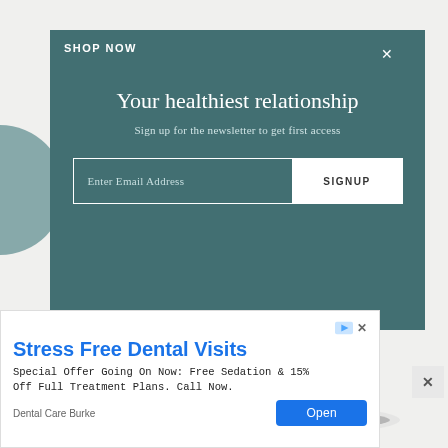[Figure (screenshot): E-commerce website with teal newsletter signup modal overlay over a shoe product page, plus a dental care advertisement banner at the bottom.]
SHOP NOW
Your healthiest relationship
Sign up for the newsletter to get first access
Enter Email Address
SIGNUP
Stress Free Dental Visits
Special Offer Going On Now: Free Sedation & 15% Off Full Treatment Plans. Call Now.
Dental Care Burke
Open